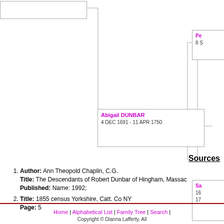[Figure (other): Partial genealogy/family tree chart showing person boxes with connector lines. Top-left partial box (cropped), center box for Abigail DUNBAR (4 DEC 1691 - 11 APR 1750), top-right partial box starting with 'Pe' and '8 S', bottom-right partial box starting with 'Sa', '16', '17'.]
Sources
Author: Ann Theopold Chaplin, C.G. Title: The Descendants of Robert Dunbar of Hingham, Massac... Published: Name: 1992;
Title: 1855 census Yorkshire, Catt. Co NY Page: 5
Home | Alphabetical List | Family Tree | Search | Copyright © Dianna Lafferty. All